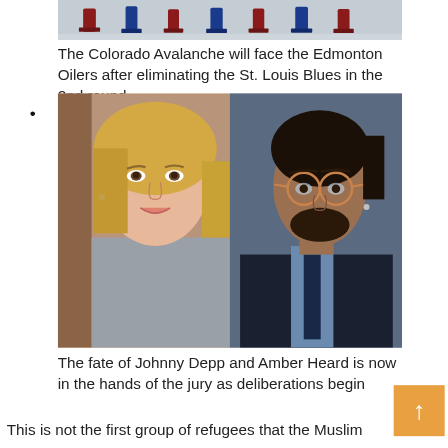[Figure (photo): Partial top photo showing ice hockey players (Colorado Avalanche) on the ice, cropped at top of page]
The Colorado Avalanche will face the Edmonton Oilers after eliminating the St. Louis Blues in the 2nd round
•
[Figure (photo): Side-by-side photos of Amber Heard (left, blonde woman smiling) and Johnny Depp (right, man with glasses and dark hair tied back, wearing a suit) in a courtroom setting]
The fate of Johnny Depp and Amber Heard is now in the hands of the jury as deliberations begin
This is not the first group of refugees that the Muslim